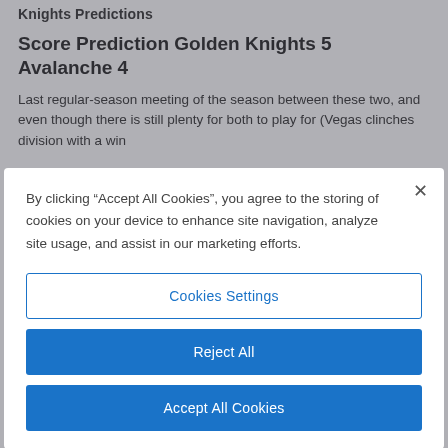Knights Predictions
Score Prediction Golden Knights 5 Avalanche 4
Last regular-season meeting of the season between these two, and even though there is still plenty for both to play for (Vegas clinches division with a win
By clicking “Accept All Cookies”, you agree to the storing of cookies on your device to enhance site navigation, analyze site usage, and assist in our marketing efforts.
Cookies Settings
Reject All
Accept All Cookies